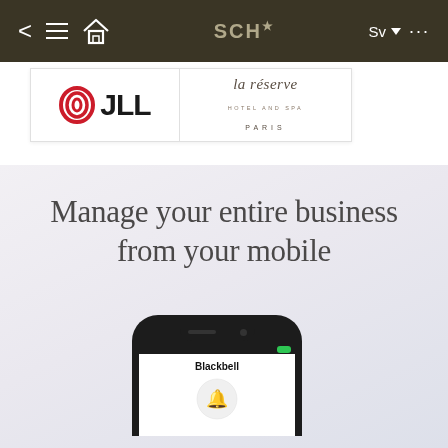< ≡ ⌂  SCH★  Sv ▼ ...
[Figure (logo): JLL logo with red concentric oval icon and bold black JLL text]
[Figure (logo): la réserve hotel and spa PARIS logo in serif italic typeface]
Manage your entire business from your mobile
[Figure (screenshot): Black smartphone mockup showing Blackbell app on screen with a circular logo icon]